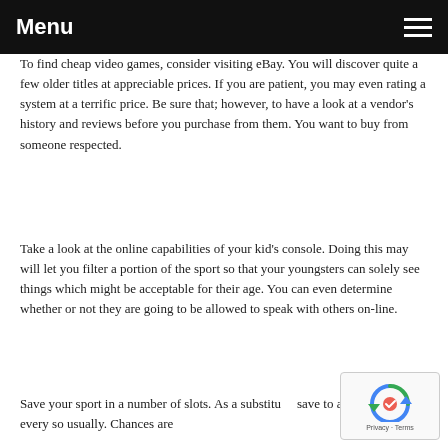Menu
To find cheap video games, consider visiting eBay. You will discover quite a few older titles at appreciable prices. If you are patient, you may even rating a system at a terrific price. Be sure that; however, to have a look at a vendor's history and reviews before you purchase from them. You want to buy from someone respected.
Take a look at the online capabilities of your kid's console. Doing this may will let you filter a portion of the sport so that your youngsters can solely see things which might be acceptable for their age. You can even determine whether or not they are going to be allowed to speak with others on-line.
Save your sport in a number of slots. As a substitute, save to a brand new slot every so usually. Chances are